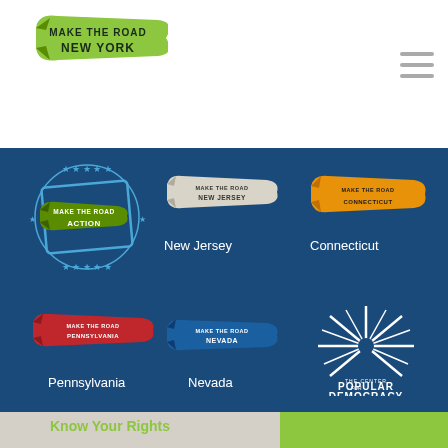[Figure (logo): Make The Road New York logo - green banner/ribbon style]
[Figure (logo): Make The Road Action logo - blue with stars circle]
[Figure (logo): Make The Road New Jersey logo - gray/white banner]
[Figure (logo): Make The Road Connecticut logo - orange banner]
[Figure (logo): Make The Road Pennsylvania logo - red banner]
[Figure (logo): Make The Road Nevada logo - blue banner]
[Figure (logo): The Center for Popular Democracy logo - white sunburst]
New Jersey
Connecticut
Pennsylvania
Nevada
Know Your Rights